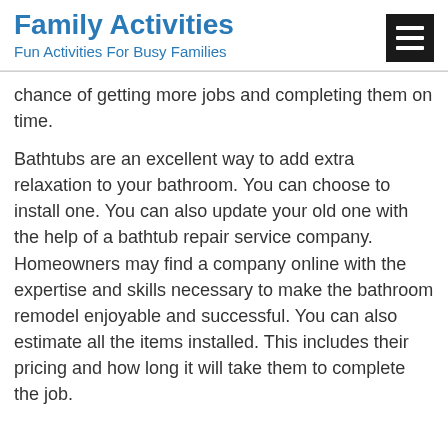Family Activities
Fun Activities For Busy Families
chance of getting more jobs and completing them on time.
Bathtubs are an excellent way to add extra relaxation to your bathroom. You can choose to install one. You can also update your old one with the help of a bathtub repair service company. Homeowners may find a company online with the expertise and skills necessary to make the bathroom remodel enjoyable and successful. You can also estimate all the items installed. This includes their pricing and how long it will take them to complete the job.